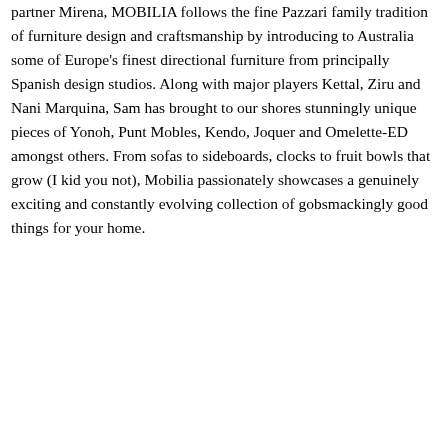partner Mirena, MOBILIA follows the fine Pazzari family tradition of furniture design and craftsmanship by introducing to Australia some of Europe's finest directional furniture from principally Spanish design studios. Along with major players Kettal, Ziru and Nani Marquina, Sam has brought to our shores stunningly unique pieces of Yonoh, Punt Mobles, Kendo, Joquer and Omelette-ED amongst others. From sofas to sideboards, clocks to fruit bowls that grow (I kid you not), Mobilia passionately showcases a genuinely exciting and constantly evolving collection of gobsmackingly good things for your home.